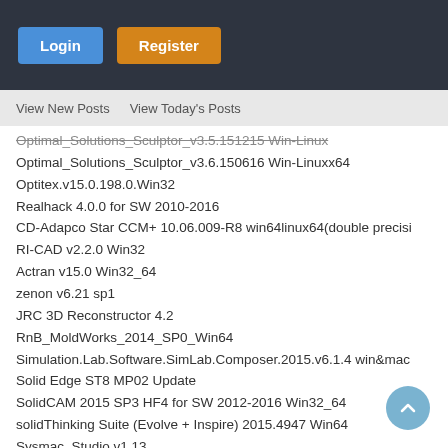Login  Register
View New Posts  View Today's Posts
Optimal_Solutions_Sculptor_v3.5.151215 Win-Linux
Optimal_Solutions_Sculptor_v3.6.150616 Win-Linuxx64
Optitex.v15.0.198.0.Win32
Realhack 4.0.0 for SW 2010-2016
CD-Adapco Star CCM+ 10.06.009-R8 win64linux64(double precisi
RI-CAD v2.2.0 Win32
Actran v15.0 Win32_64
zenon v6.21 sp1
JRC 3D Reconstructor 4.2
RnB_MoldWorks_2014_SP0_Win64
Simulation.Lab.Software.SimLab.Composer.2015.v6.1.4 win&mac
Solid Edge ST8 MP02 Update
SolidCAM 2015 SP3 HF4 for SW 2012-2016 Win32_64
solidThinking Suite (Evolve + Inspire) 2015.4947 Win64
Sysmac_Studio v1.13
Thinkbox Deadline v7.2.0.18
TTI.Pipeline.Toolbox.2014.v16.0.Gas.Edition ver
TTI.Pipeline.Toolbox.2014.v16.0.Liquid.Edition ver